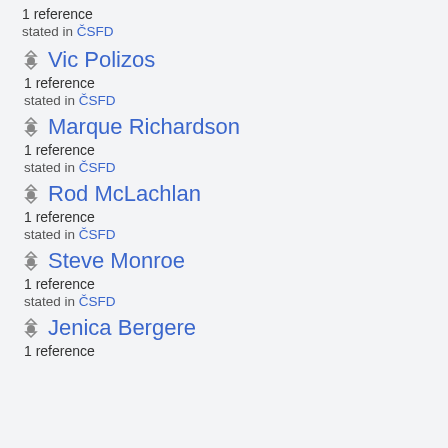1 reference
stated in ČSFD
Vic Polizos
1 reference
stated in ČSFD
Marque Richardson
1 reference
stated in ČSFD
Rod McLachlan
1 reference
stated in ČSFD
Steve Monroe
1 reference
stated in ČSFD
Jenica Bergere
1 reference